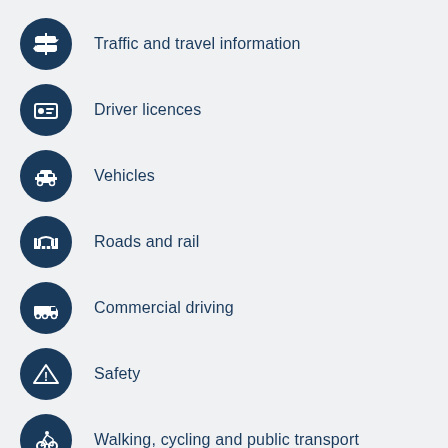Traffic and travel information
Driver licences
Vehicles
Roads and rail
Commercial driving
Safety
Walking, cycling and public transport